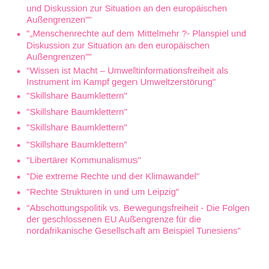und Diskussion zur Situation an den europäischen Außengrenzen""
"„Menschenrechte auf dem Mittelmehr ?- Planspiel und Diskussion zur Situation an den europäischen Außengrenzen""
"Wissen ist Macht – Umweltinformationsfreiheit als Instrument im Kampf gegen Umweltzerstörung"
"Skillshare Baumklettern"
"Skillshare Baumklettern"
"Skillshare Baumklettern"
"Skillshare Baumklettern"
"Libertärer Kommunalismus"
"Die extreme Rechte und der Klimawandel"
"Rechte Strukturen in und um Leipzig"
"Abschottungspolitik vs. Bewegungsfreiheit - Die Folgen der geschlossenen EU Außengrenze für die nordafrikanische Gesellschaft am Beispiel Tunesiens"